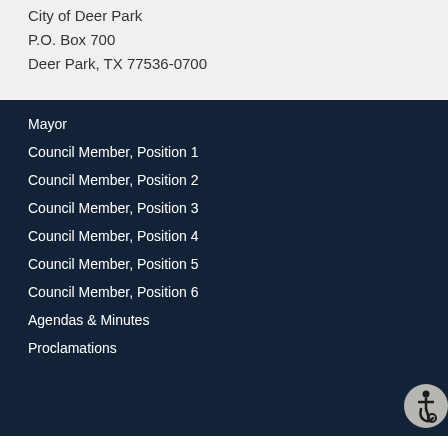City of Deer Park
P.O. Box 700
Deer Park, TX 77536-0700
Mayor
Council Member, Position 1
Council Member, Position 2
Council Member, Position 3
Council Member, Position 4
Council Member, Position 5
Council Member, Position 6
Agendas & Minutes
Proclamations
[Figure (illustration): Accessibility icon (wheelchair symbol) in a circular badge, bottom right corner]